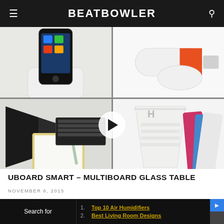BEATBOWLER
[Figure (photo): 4-quadrant collage of smart desk/table products: top-left shows smartphone in white dock, top-right shows white USB device with red/orange accent, bottom-left shows black speaker, notebook, pen, and laptop keyboard, bottom-right shows white paper cup and colorful flat cards/tablets. A play button is overlaid in the center.]
UBOARD SMART – MULTIBOARD GLASS TABLE
NOVEMBER 6, 2015
1. Top 10 Air Humidifiers
2. Best Living Room Designs
Search for